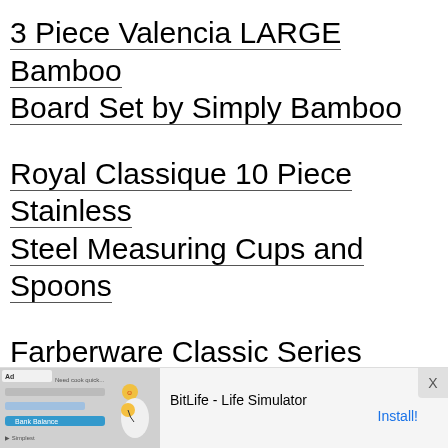3 Piece Valencia LARGE Bamboo Board Set by Simply Bamboo
Royal Classique 10 Piece Stainless Steel Measuring Cups and Spoons
Farberware Classic Series Stainless Steel 8-Quart Covered Saucepot
[Figure (other): Advertisement banner for BitLife - Life Simulator app with Ad label, app icon image, and Install button]